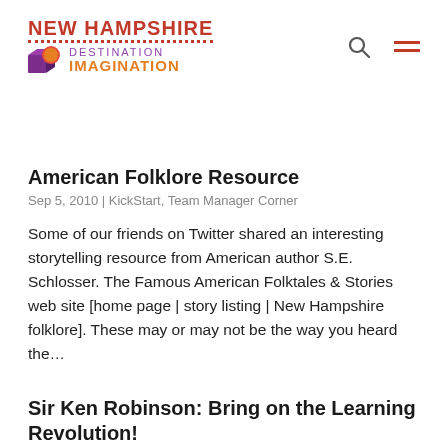NEW HAMPSHIRE DESTINATION IMAGINATION
American Folklore Resource
Sep 5, 2010 | KickStart, Team Manager Corner
Some of our friends on Twitter shared an interesting storytelling resource from American author S.E. Schlosser. The Famous American Folktales & Stories web site [home page | story listing | New Hampshire folklore]. These may or may not be the way you heard the...
Sir Ken Robinson: Bring on the Learning Revolution!
Aug 2, 2010 | Educators, KickStart, Parents, Team Manager Corner